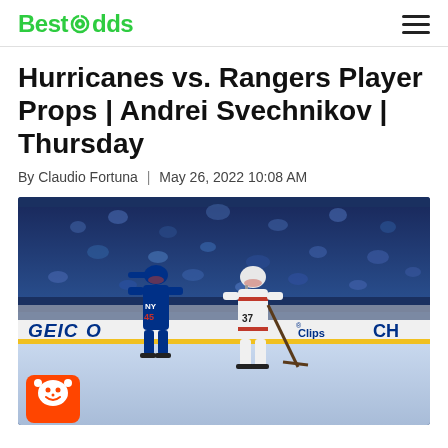BestOdds
Hurricanes vs. Rangers Player Props | Andrei Svechnikov | Thursday
By Claudio Fortuna  |  May 26, 2022 10:08 AM
[Figure (photo): Hockey game photo showing a Carolina Hurricanes player #37 skating with the puck while a New York Rangers player defends, with GEICO and Clips advertisements on the boards and a packed arena crowd in the background. A small Reddit mascot icon appears in the bottom-left corner of the image.]